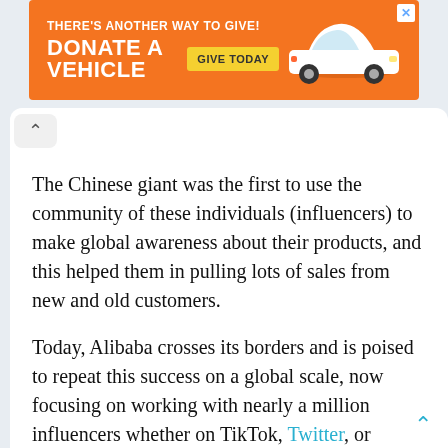[Figure (other): Orange advertisement banner: 'THERE'S ANOTHER WAY TO GIVE! DONATE A VEHICLE' with a yellow 'GIVE TODAY' button and a white car image on the right, close X button top right.]
The Chinese giant was the first to use the community of these individuals (influencers) to make global awareness about their products, and this helped them in pulling lots of sales from new and old customers.
Today, Alibaba crosses its borders and is poised to repeat this success on a global scale, now focusing on working with nearly a million influencers whether on TikTok, Twitter, or Instagram.
AliExpress, the company's marketplace for goods and services, has launched a social